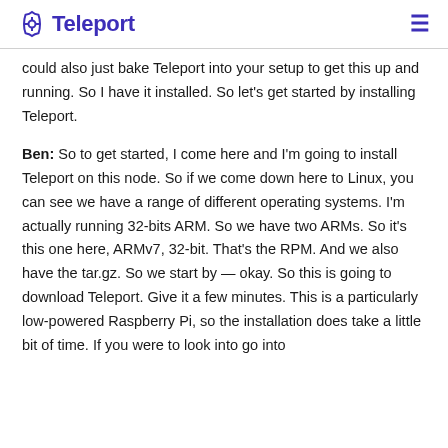Teleport
could also just bake Teleport into your setup to get this up and running. So I have it installed. So let's get started by installing Teleport.
Ben: So to get started, I come here and I'm going to install Teleport on this node. So if we come down here to Linux, you can see we have a range of different operating systems. I'm actually running 32-bits ARM. So we have two ARMs. So it's this one here, ARMv7, 32-bit. That's the RPM. And we also have the tar.gz. So we start by — okay. So this is going to download Teleport. Give it a few minutes. This is a particularly low-powered Raspberry Pi, so the installation does take a little bit of time. If you were to look into go into